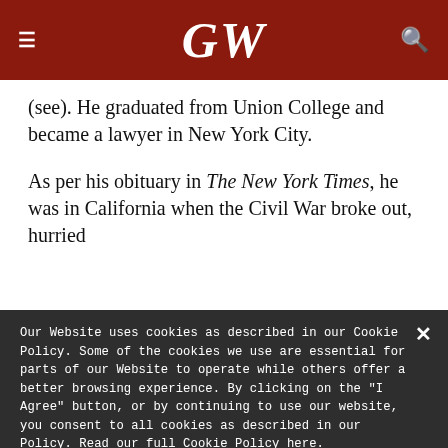GW
(see). He graduated from Union College and became a lawyer in New York City.
As per his obituary in The New York Times, he was in California when the Civil War broke out, hurried
Our Website uses cookies as described in our Cookie Policy. Some of the cookies we use are essential for parts of our Website to operate while others offer a better browsing experience. By clicking on the "I Agree" button, or by continuing to use our website, you consent to all cookies as described in our Policy. Read our full Cookie Policy here.
SHOW DETAILS
I AGREE
I DECLINE
POWERED BY COOKIE-SCRIPT